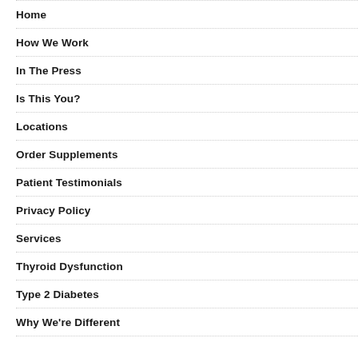Home
How We Work
In The Press
Is This You?
Locations
Order Supplements
Patient Testimonials
Privacy Policy
Services
Thyroid Dysfunction
Type 2 Diabetes
Why We're Different